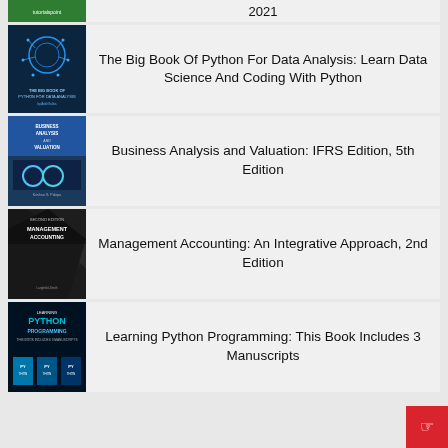[Figure (illustration): Partial book card at top - tutorialspoint branded book cover, year 2021]
The Big Book Of Python For Data Analysis: Learn Data Science And Coding With Python
[Figure (illustration): Book cover: The Big Book of Python For Data Analysis]
Business Analysis and Valuation: IFRS Edition, 5th Edition
[Figure (illustration): Book cover: Business Analysis and Valuation IFRS Edition]
Management Accounting: An Integrative Approach, 2nd Edition
[Figure (illustration): Book cover: Management Accounting An Integrative Approach]
Learning Python Programming: This Book Includes 3 Manuscripts
[Figure (illustration): Book cover: Learning Python Programming]